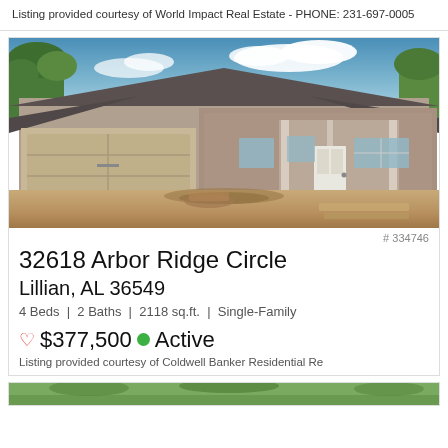Listing provided courtesy of World Impact Real Estate - PHONE: 231-697-0005
[Figure (photo): Exterior photo of a new construction single-family brick home at 32618 Arbor Ridge Circle, with a two-car garage, covered porch, and dirt yard under a partly cloudy sky]
# 334746
32618 Arbor Ridge Circle
Lillian, AL 36549
4 Beds | 2 Baths | 2118 sq.ft. | Single-Family
♡ $377,500 ● Active
Listing provided courtesy of Coldwell Banker Residential Re